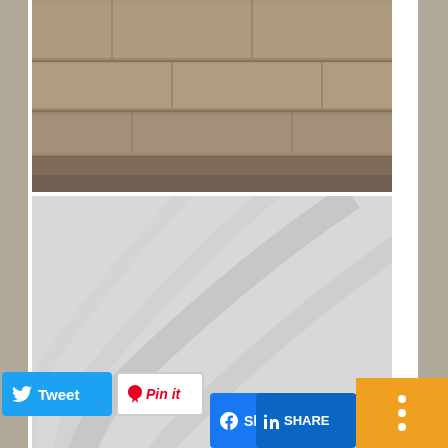[Figure (photo): Stone or raised fireplace hearth close-up photo, showing textured stone surface]
Safety Sunday: Raised Fireplace Hearth & Kids
[Figure (photo): Gray placeholder image with swirl watermark design]
Labor Day & Safety
[Figure (photo): Partial bottom photo, partially visible]
Tweet | Pin it | Share 0 | Like 0 | SHARE | [share icon]